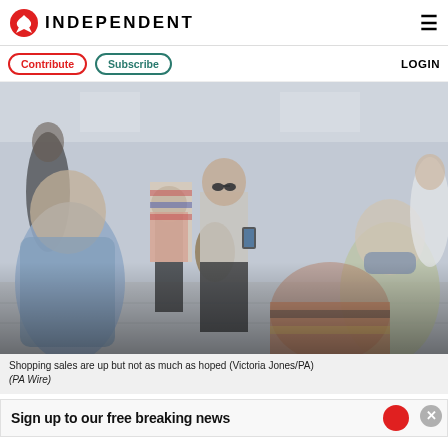INDEPENDENT
Contribute   Subscribe   LOGIN
[Figure (photo): Crowd of shoppers walking through a shopping centre, some wearing face masks, people blurred in foreground]
Shopping sales are up but not as much as hoped (Victoria Jones/PA) (PA Wire)
Sign up to our free breaking news